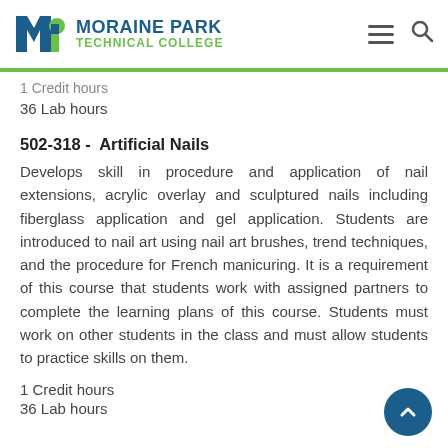MORAINE PARK TECHNICAL COLLEGE
1 Credit hours
36 Lab hours
502-318 -  Artificial Nails
Develops skill in procedure and application of nail extensions, acrylic overlay and sculptured nails including fiberglass application and gel application. Students are introduced to nail art using nail art brushes, trend techniques, and the procedure for French manicuring. It is a requirement of this course that students work with assigned partners to complete the learning plans of this course. Students must work on other students in the class and must allow students to practice skills on them.
1 Credit hours
36 Lab hours